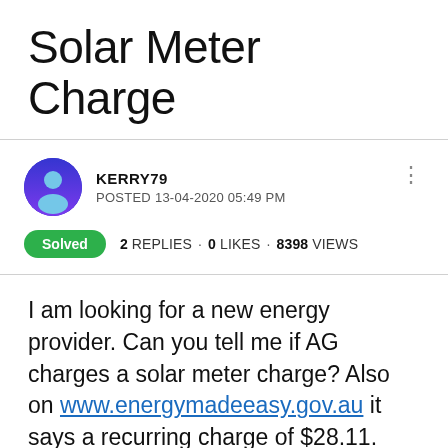Solar Meter Charge
KERRY79
POSTED 13-04-2020 05:49 PM
Solved  2 REPLIES · 0 LIKES · 8398 VIEWS
I am looking for a new energy provider. Can you tell me if AG charges a solar meter charge? Also on www.energymadeeasy.gov.au it says a recurring charge of $28.11. Does anyone know what this would be? Thanks in advance!